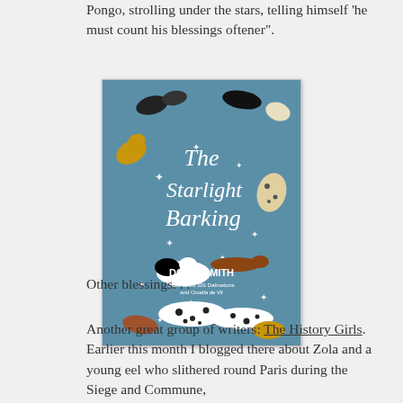Pongo, strolling under the stars, telling himself 'he must count his blessings oftener”.
[Figure (photo): Book cover of 'The Starlight Barking' by Dodie Smith, featuring illustrated dogs on a blue background with stars.]
Other blessings. . .
Another great group of writers: The History Girls. Earlier this month I blogged there about Zola and a young eel who slithered round Paris during the Siege and Commune,